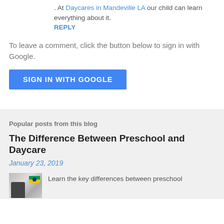. At Daycares in Mandeville LA our child can learn everything about it.
REPLY
To leave a comment, click the button below to sign in with Google.
SIGN IN WITH GOOGLE
Popular posts from this blog
The Difference Between Preschool and Daycare
January 23, 2019
Learn the key differences between preschool